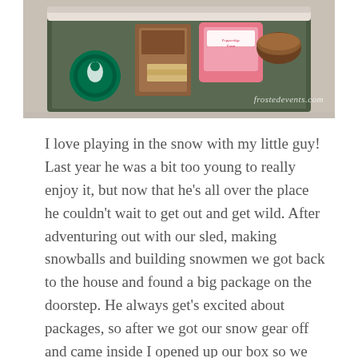[Figure (photo): Overhead view of an open gift box containing Starbucks branded items, biscuits/cookies, and a pink Pepperidge Farm package, on a marble surface. Watermark reads 'frostedevents.com'.]
I love playing in the snow with my little guy! Last year he was a bit too young to really enjoy it, but now that he's all over the place he couldn't wait to get out and get wild. After adventuring out with our sled, making snowballs and building snowmen we got back to the house and found a big package on the doorstep. He always get's excited about packages, so after we got our snow gear off and came inside I opened up our box so we could see what was inside.
Nothing could have been more perfect for the moment! Inside our box was the cutest "Cozy